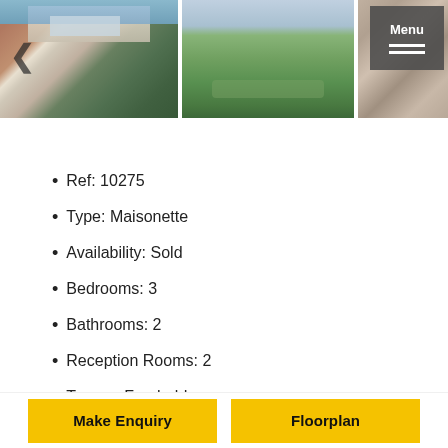[Figure (photo): Three property photos side by side: exterior of semi-detached house, rear garden with grass, and interior detail. A back arrow navigation chevron is visible on the left, and a dark grey Menu button with hamburger icon is in the top right corner.]
Ref: 10275
Type: Maisonette
Availability: Sold
Bedrooms: 3
Bathrooms: 2
Reception Rooms: 2
Tenure: Freehold
Make Enquiry
Floorplan